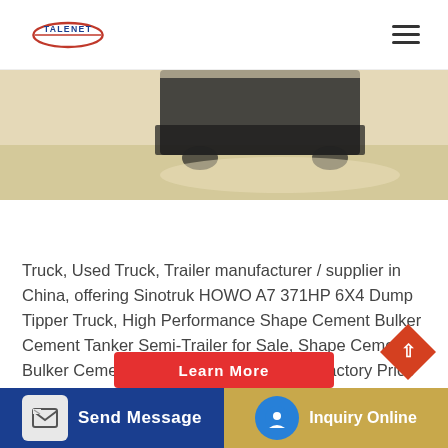TALENET
[Figure (photo): Partial photo of a truck/construction vehicle in a sandy/dusty outdoor setting, cropped at top showing just the lower portion of the vehicle against a pale sandy background.]
Truck, Used Truck, Trailer manufacturer / supplier in China, offering Sinotruk HOWO A7 371HP 6X4 Dump Tipper Truck, High Performance Shape Cement Bulker Cement Tanker Semi-Trailer for Sale, Shape Cement Bulker Cement Tanker Semi-Trailer with Factory Price and so on.
Send Message
Inquiry Online
Learn More